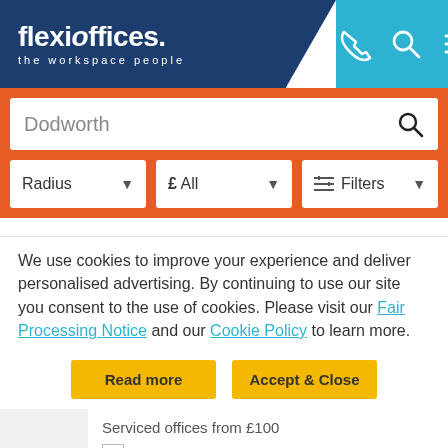[Figure (screenshot): Flexioffices website header with dark blue background, logo text 'flexioffices. the workspace people', and cyan right section with phone, search, and menu icons]
[Figure (screenshot): Orange search area with white search box containing text 'Dodworth' and search icon, plus three filter dropdowns: Radius, £ All, and Filters]
We use cookies to improve your experience and deliver personalised advertising. By continuing to use our site you consent to the use of cookies. Please visit our Fair Processing Notice and our Cookie Policy to learn more.
Read more
Accept & Close
Serviced offices from £100